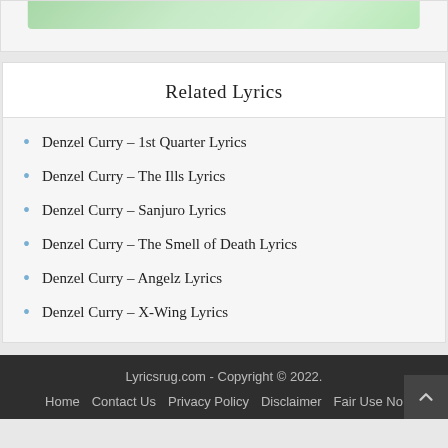[Figure (illustration): Partial view of a green gradient decorative image at the top of the page]
Related Lyrics
Denzel Curry – 1st Quarter Lyrics
Denzel Curry – The Ills Lyrics
Denzel Curry – Sanjuro Lyrics
Denzel Curry – The Smell of Death Lyrics
Denzel Curry – Angelz Lyrics
Denzel Curry – X-Wing Lyrics
Lyricsrug.com - Copyright © 2022.
Home   Contact Us   Privacy Policy   Disclaimer   Fair Use No